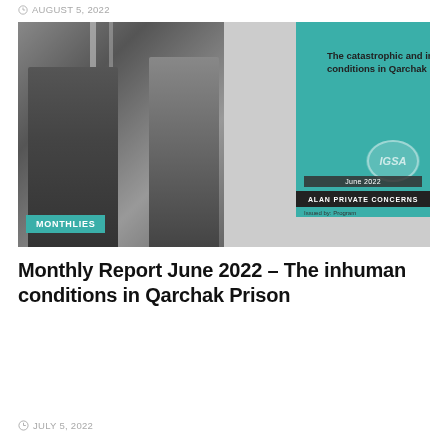AUGUST 5, 2022
[Figure (photo): Cover image of a report titled 'The catastrophic and inhuman conditions in Qarchak Prison', showing a blurred black-and-white photo of people on the left and a teal-accented report cover on the right with a logo and 'MONTHLIES' badge overlay.]
Monthly Report June 2022 – The inhuman conditions in Qarchak Prison
JULY 5, 2022